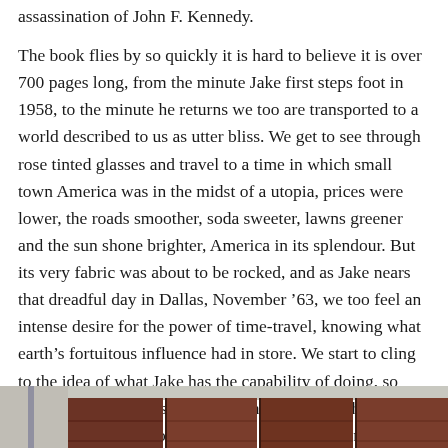assassination of John F. Kennedy.
The book flies by so quickly it is hard to believe it is over 700 pages long, from the minute Jake first steps foot in 1958, to the minute he returns we too are transported to a world described to us as utter bliss. We get to see through rose tinted glasses and travel to a time in which small town America was in the midst of a utopia, prices were lower, the roads smoother, soda sweeter, lawns greener and the sun shone brighter, America in its splendour. But its very fabric was about to be rocked, and as Jake nears that dreadful day in Dallas, November '63, we too feel an intense desire for the power of time-travel, knowing what earth's fortuitous influence had in store. We start to cling to the idea of what Jake has the capability of doing, so much so that we ourselves momentarily forget the ending, living partly in that other timeline in which Kennedy lived.
[Figure (photo): Partial view of a building with dark reddish-brown wooden panels or shutters, with a light-colored exterior wall and what appears to be a pole or post on the left side. Bottom portion of page image.]